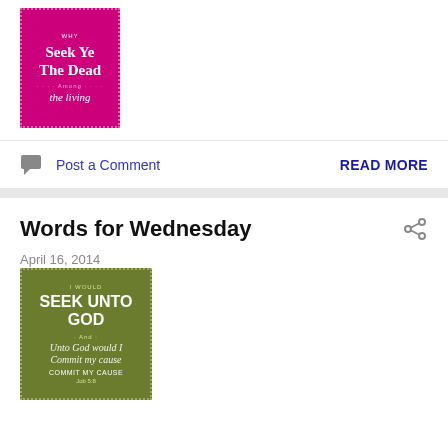[Figure (illustration): Book cover with magenta/pink background showing text: Why Seek Ye The Dead Among the Living - decorative script title]
Post a Comment
READ MORE
Words for Wednesday
April 16, 2014
[Figure (illustration): Book cover with olive green background showing text: I Would Seek Unto God - And - Unto God would I Commit My Cause - Job 5:8]